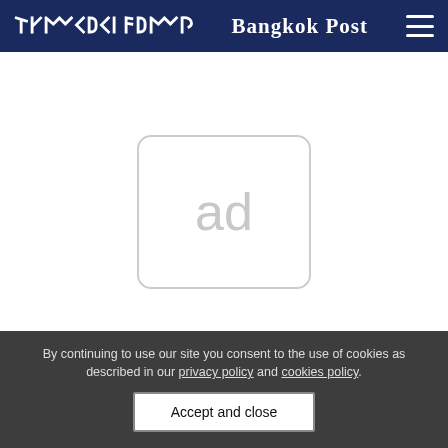Bangkok Post
[Figure (other): Advertisement placeholder box with 'ad' text centered inside a rounded rectangle]
The parasite was initially thought to be specific to
By continuing to use our site you consent to the use of cookies as described in our privacy policy and cookies policy.
Accept and close